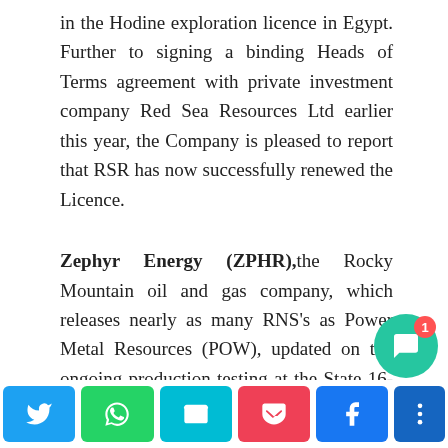in the Hodine exploration licence in Egypt. Further to signing a binding Heads of Terms agreement with private investment company Red Sea Resources Ltd earlier this year, the Company is pleased to report that RSR has now successfully renewed the Licence.
Zephyr Energy (ZPHR),the Rocky Mountain oil and gas company, which releases nearly as many RNS's as Power Metal Resources (POW), updated on the ongoing production testing at the State 16-2LN-CC well in Utah, and to report on third quarter performance from its non-operated portfolio in the Williston Basin, North Dakota. The Company announced the first flowing hydrocarbons from the State 16-2LN-CC well. Zephyr said the production of hydrocarbons marks a major milestone, particularly a